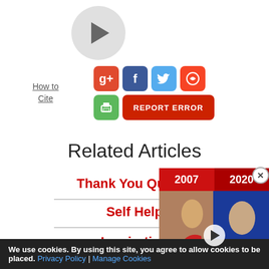[Figure (screenshot): Play button circle icon in top-left area of a media player]
How to Cite
[Figure (screenshot): Social share buttons: Google+, Facebook, Twitter, StumbleUpon, Print, and Report Error button]
Related Articles
Thank You Quotes
Self Help
Inspiration
[Figure (screenshot): WatchMojo video overlay showing 2007 vs 2020 comparison with mojo logo]
We use cookies. By using this site, you agree to allow cookies to be placed. Privacy Policy | Manage Cookies